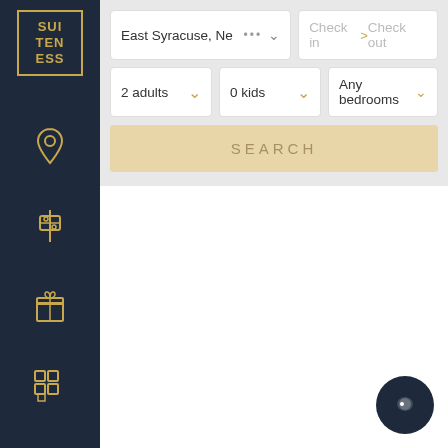[Figure (screenshot): Suiteness app sidebar with dark navy background showing logo and navigation icons (location pin, tower/filter, gift, grid/building, list, user)]
[Figure (screenshot): Search interface with location field showing 'East Syracuse, Ne...', check-in/check-out date selector, adults (2 adults), kids (0 kids), bedrooms (Any bedrooms) dropdowns, and a SEARCH button in tan/beige color. Dark chat bubble button in bottom right corner.]